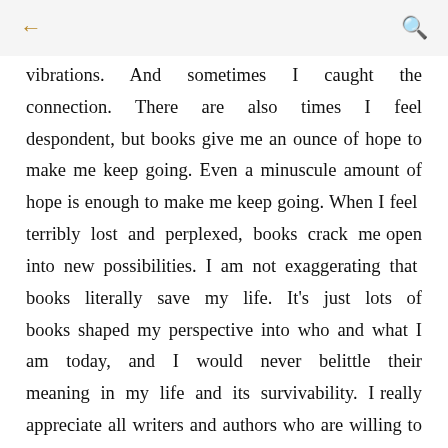← [back] [search]
vibrations. And sometimes I caught the connection. There are also times I feel despondent, but books give me an ounce of hope to make me keep going. Even a minuscule amount of hope is enough to make me keep going. When I feel terribly lost and perplexed, books crack me open into new possibilities. I am not exaggerating that books literally save my life. It's just lots of books shaped my perspective into who and what I am today, and I would never belittle their meaning in my life and its survivability. I really appreciate all writers and authors who are willing to genuinely extend their emotion to the readers